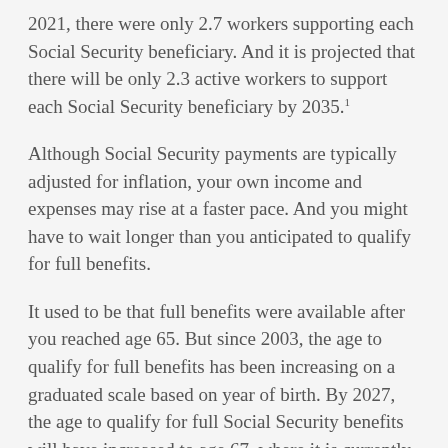2021, there were only 2.7 workers supporting each Social Security beneficiary. And it is projected that there will be only 2.3 active workers to support each Social Security beneficiary by 2035.¹
Although Social Security payments are typically adjusted for inflation, your own income and expenses may rise at a faster pace. And you might have to wait longer than you anticipated to qualify for full benefits.
It used to be that full benefits were available after you reached age 65. But since 2003, the age to qualify for full benefits has been increasing on a graduated scale based on year of birth. By 2027, the age to qualify for full Social Security benefits will have increased to age 67, where it is currently scheduled to remain.
There...